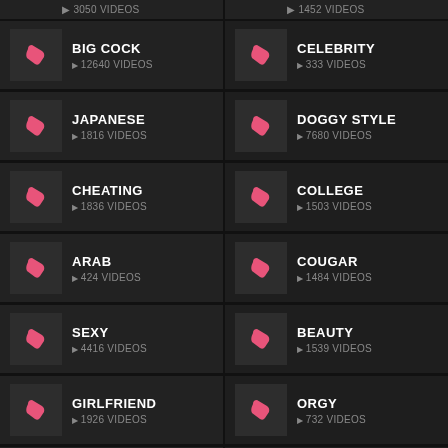3050 VIDEOS | 1452 VIDEOS
BIG COCK ▶ 12640 VIDEOS
CELEBRITY ▶ 333 VIDEOS
JAPANESE ▶ 1816 VIDEOS
DOGGY STYLE ▶ 7680 VIDEOS
CHEATING ▶ 1836 VIDEOS
COLLEGE ▶ 1503 VIDEOS
ARAB ▶ 424 VIDEOS
COUGAR ▶ 1484 VIDEOS
SEXY ▶ 4416 VIDEOS
BEAUTY ▶ 1539 VIDEOS
GIRLFRIEND ▶ 1926 VIDEOS
ORGY ▶ 732 VIDEOS
MASSAGE ▶ 1668 VIDEOS
COWGIRL ▶ 4230 VIDEOS